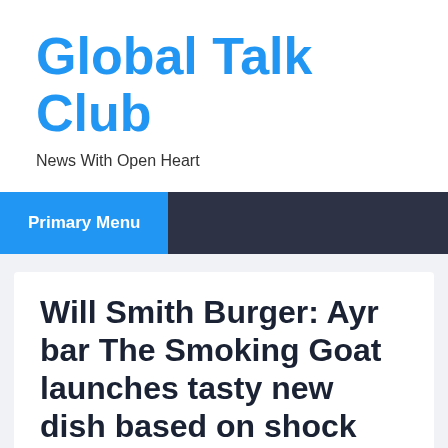Global Talk Club
News With Open Heart
Primary Menu
Will Smith Burger: Ayr bar The Smoking Goat launches tasty new dish based on shock Oscars ‘slap’